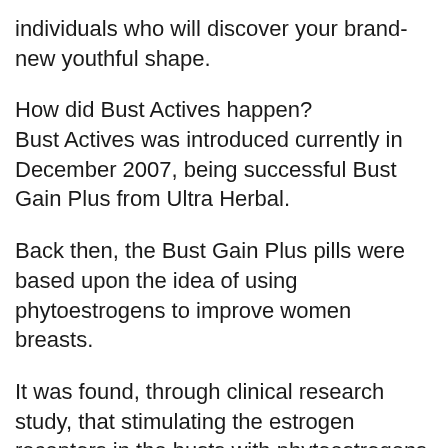individuals who will discover your brand-new youthful shape.
How did Bust Actives happen?
Bust Actives was introduced currently in December 2007, being successful Bust Gain Plus from Ultra Herbal.
Back then, the Bust Gain Plus pills were based upon the idea of using phytoestrogens to improve women breasts.
It was found, through clinical research study, that stimulating the estrogen receptors in the busts with phytoestrogens [1], can boost breast size in ladies by as long as 150%.
That's a lot!